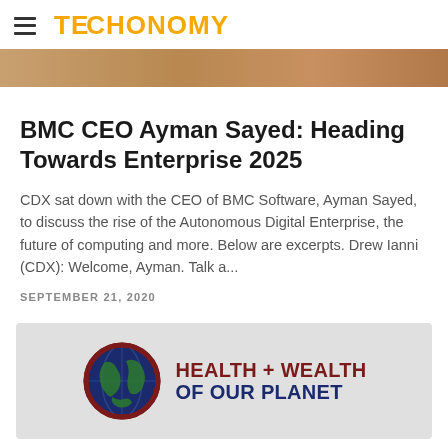TECHONOMY
[Figure (photo): Partial image of people at top of page, cropped]
BMC CEO Ayman Sayed: Heading Towards Enterprise 2025
CDX sat down with the CEO of BMC Software, Ayman Sayed, to discuss the rise of the Autonomous Digital Enterprise, the future of computing and more. Below are excerpts. Drew Ianni (CDX): Welcome, Ayman. Talk a...
SEPTEMBER 21, 2020
[Figure (infographic): Health + Wealth of Our Planet advertisement banner with globe icon]